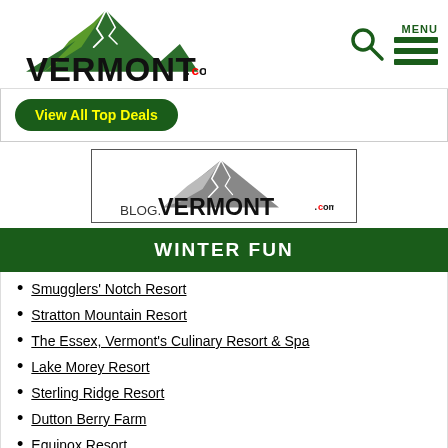[Figure (logo): Vermont.com logo with green mountain graphic and bold VERMONT text with red .com]
[Figure (logo): Menu icon with search icon and three horizontal lines labeled MENU]
[Figure (other): Green rounded button saying View All Top Deals in yellow bold text]
[Figure (logo): Blog.Vermont.com logo in a bordered box with grey mountain graphic]
WINTER FUN
Smugglers' Notch Resort
Stratton Mountain Resort
The Essex, Vermont's Culinary Resort & Spa
Lake Morey Resort
Sterling Ridge Resort
Dutton Berry Farm
Equinox Resort